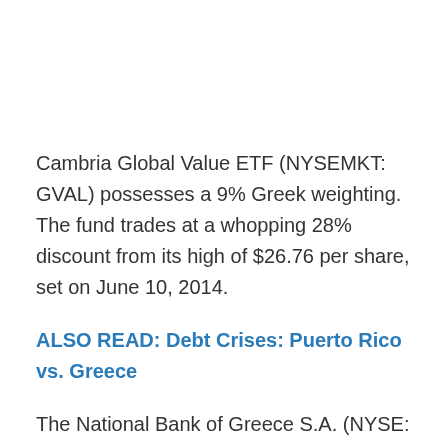Cambria Global Value ETF (NYSEMKT: GVAL) possesses a 9% Greek weighting. The fund trades at a whopping 28% discount from its high of $26.76 per share, set on June 10, 2014.
ALSO READ: Debt Crises: Puerto Rico vs. Greece
The National Bank of Greece S.A. (NYSE: